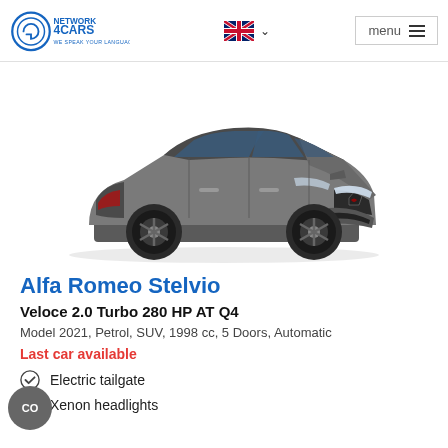Network 4 Cars — We Speak Your Language | menu
[Figure (photo): Gray Alfa Romeo Stelvio SUV shown from a front three-quarter angle on a white background]
Alfa Romeo Stelvio
Veloce 2.0 Turbo 280 HP AT Q4
Model 2021, Petrol, SUV, 1998 cc, 5 Doors, Automatic
Last car available
Electric tailgate
Xenon headlights